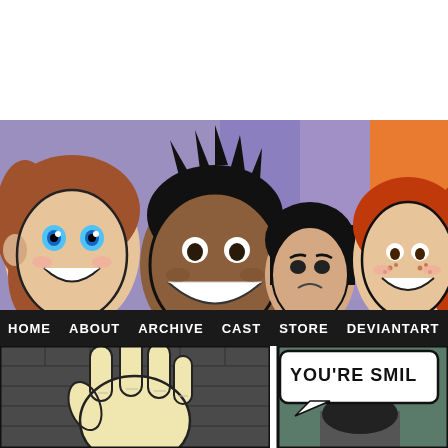[Figure (illustration): White blank space at the top of the page, approximately 120px tall]
[Figure (illustration): Comic webcomic banner header showing four cartoon characters: a girl with blue eyes and brown hair on the left smiling, a dark-skinned boy with black spiky hair smiling widely in the center-left, a dark-haired girl with a frowning expression behind them, and a red-haired freckled girl smiling on the right. Purple locker background.]
HOME  ABOUT  ARCHIVE  CAST  STORE  DEVIANTART  TUMB
[Figure (illustration): Two comic strip panels at the bottom. Left panel shows a large yellow/cream colored hand with fingers spread against a dark brick-wall background. Right panel shows a speech bubble with text 'YOU'RE SMIL' (partially cut off) and the top of a dark-haired character's head.]